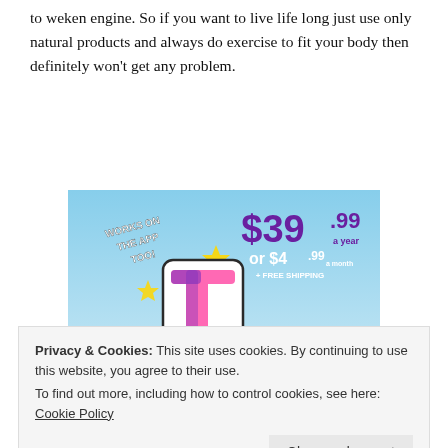to weken engine. So if you want to live life long just use only natural products and always do exercise to fit your body then definitely won't get any problem.
[Figure (infographic): Tumblr Ad-Free subscription advertisement showing a Tumblr logo, price $39.99 a year or $4.99 a month, with free shipping, and text 'Works on the App Too!']
Privacy & Cookies: This site uses cookies. By continuing to use this website, you agree to their use. To find out more, including how to control cookies, see here: Cookie Policy